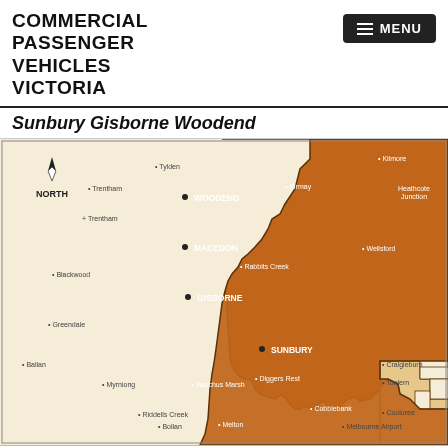COMMERCIAL PASSENGER VEHICLES VICTORIA
Sunbury Gisborne Woodend
[Figure (map): A regional map showing Taxi Zones for the Sunbury, Gisborne, and Woodend area in Victoria, Australia. The majority of the map area is shaded in orange/brown representing 'Regional' taxi zone. The lighter cream area to the left represents 'Country' zone. Key towns labeled include WOODEND, MACEDON, GISBORNE, SUNBURY, Tylden, Trentham, Trentham, Blackwood, Greendale, Ballan, Myrniong, Riddells Creek, Bacchus Marsh, Diggers Rest, Craigieburn, Toolern, Wellsford, Melbourne Airport, Cobblebank. A north arrow is shown in the upper left. The bottom right shows a zoomed stepped boundary near Melbourne Airport.]
Taxi Zones: Metro, Urban, Regional, Country. 2014 Determination of Taxi Zone Boundaries. Zone Boundaries Covering Sunbury/Gisborne/Macedon/Woodend